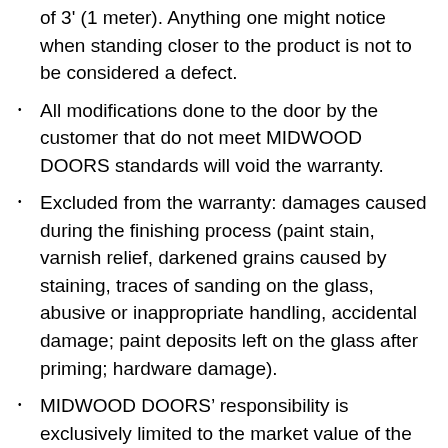of 3' (1 meter). Anything one might notice when standing closer to the product is not to be considered a defect.
All modifications done to the door by the customer that do not meet MIDWOOD DOORS standards will void the warranty.
Excluded from the warranty: damages caused during the finishing process (paint stain, varnish relief, darkened grains caused by staining, traces of sanding on the glass, abusive or inappropriate handling, accidental damage; paint deposits left on the glass after priming; hardware damage).
MIDWOOD DOORS' responsibility is exclusively limited to the market value of the delivered product. Under no circumstances will it exceed the original purchased value.
MIDWOOD DOORS reserves the right to choose between repairing or replacing the